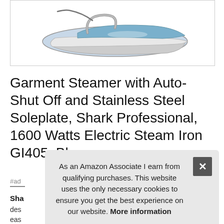[Figure (photo): A Shark brand electric steam iron with blue handle and stainless steel soleplate, shown at an angle against a white background inside a bordered image box.]
Garment Steamer with Auto-Shut Off and Stainless Steel Soleplate, Shark Professional, 1600 Watts Electric Steam Iron GI405, Blue,
#ad
Sha
des
eas
Advanced Stability, Innovative features like the 8" premium
As an Amazon Associate I earn from qualifying purchases. This website uses the only necessary cookies to ensure you get the best experience on our website. More information